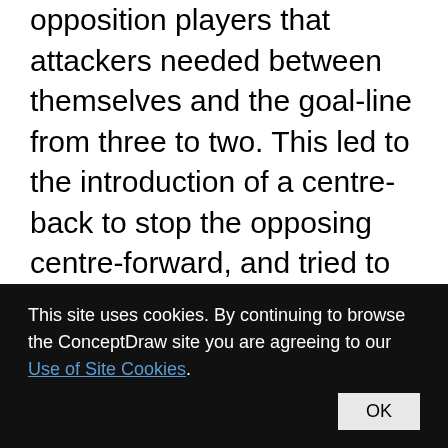opposition players that attackers needed between themselves and the goal-line from three to two. This led to the introduction of a centre-back to stop the opposing centre-forward, and tried to balance defensive and offensive playing. The formation became so successful that by the late-1930s most English clubs had adopted the WM. Retrospectively, the WM has either been described as a 3–2–5 or as a 3–4–3, or more precisely a 3–2–2–3 reflecting the
This site uses cookies. By continuing to browse the ConceptDraw site you are agreeing to our Use of Site Cookies.